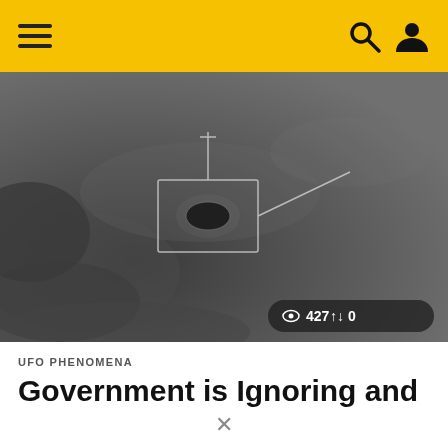Navigation bar with hamburger menu, search icon, and user icon
[Figure (screenshot): Grayscale military infrared/FLIR camera footage showing a dark oval UFO object in center with targeting crosshair lines, cloudy sky background. Stats overlay shows eye icon 427 and share icon 0.]
UFO PHENOMENA
Government is Ignoring and